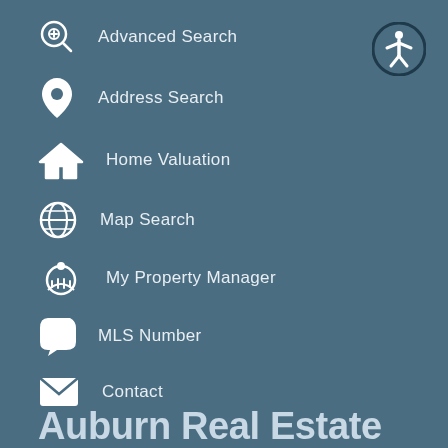Advanced Search
Address Search
Home Valuation
Map Search
My Property Manager
MLS Number
Contact
Auburn Real Estate